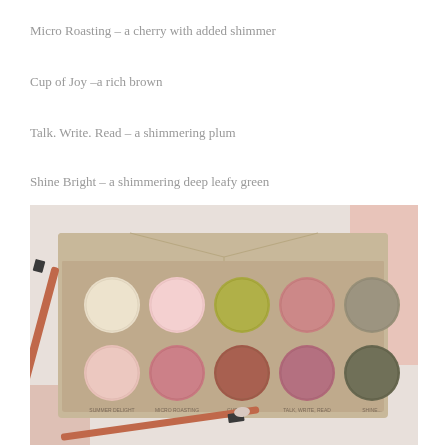Micro Roasting – a cherry with added shimmer
Cup of Joy –a rich brown
Talk. Write. Read – a shimmering plum
Shine Bright – a shimmering deep leafy green
[Figure (photo): Eyeshadow palette with 10 circular pans in two rows: cream, pink shimmer, olive/yellow-green shimmer, dusty rose, taupe (top row); pink, shimmer rose, brown/terracotta, deep plum/mauve, dark olive green (bottom row). Palette rests on a marble surface with pink brushes.]